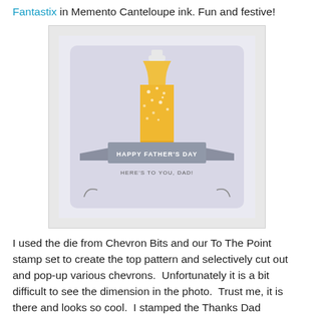Fantastix in Memento Canteloupe ink. Fun and festive!
[Figure (photo): A greeting card with a beer bottle illustration on a light periwinkle background. The bottle is golden/amber colored. A gray banner ribbon across the card reads 'HAPPY FATHER'S DAY' and below it 'HERE'S TO YOU, DAD!']
I used the die from Chevron Bits and our To The Point stamp set to create the top pattern and selectively cut out and pop-up various chevrons.  Unfortunately it is a bit difficult to see the dimension in the photo.  Trust me, it is there and looks so cool.  I stamped the Thanks Dad sentiment and partially